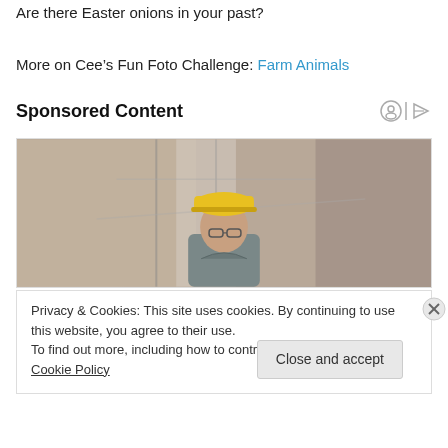Are there Easter onions in your past?
More on Cee’s Fun Foto Challenge: Farm Animals
Sponsored Content
[Figure (photo): A man wearing a yellow hard hat and glasses, photographed from below against a construction site background]
Privacy & Cookies: This site uses cookies. By continuing to use this website, you agree to their use.
To find out more, including how to control cookies, see here: Cookie Policy